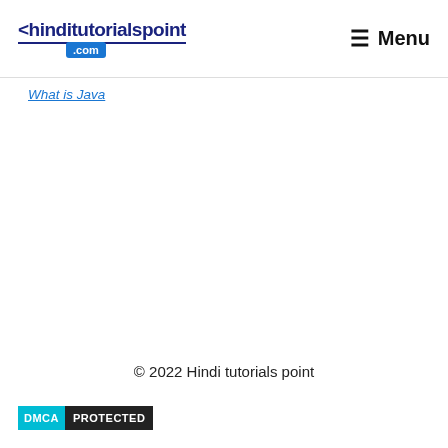<hinditutorialspoint .com  ≡ Menu
What is Java
© 2022 Hindi tutorials point
[Figure (logo): DMCA PROTECTED badge with cyan DMCA label and black PROTECTED label]